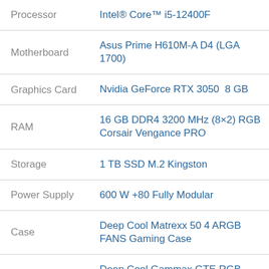| Component | Specification |
| --- | --- |
| Processor | Intel® Core™ i5-12400F |
| Motherboard | Asus Prime H610M-A D4 (LGA 1700) |
| Graphics Card | Nvidia GeForce RTX 3050  8 GB |
| RAM | 16 GB DDR4 3200 MHz (8×2) RGB Corsair Vengance PRO |
| Storage | 1 TB SSD M.2 Kingston |
| Power Supply | 600 W +80 Fully Modular |
| Case | Deep Cool Matrexx 50 4 ARGB FANS Gaming Case |
|  | Deep Cool Gammax GTE RGB |